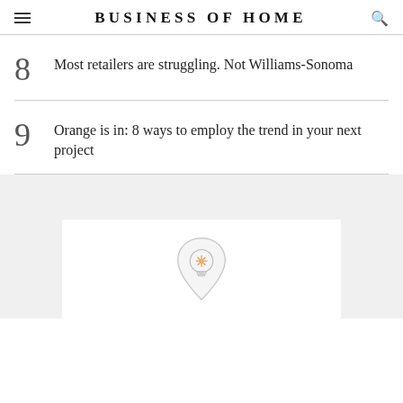BUSINESS OF HOME
8  Most retailers are struggling. Not Williams-Sonoma
9  Orange is in: 8 ways to employ the trend in your next project
[Figure (logo): Light bulb icon with orange starburst center inside a teardrop/pin shape, on a white card over a light gray background section]